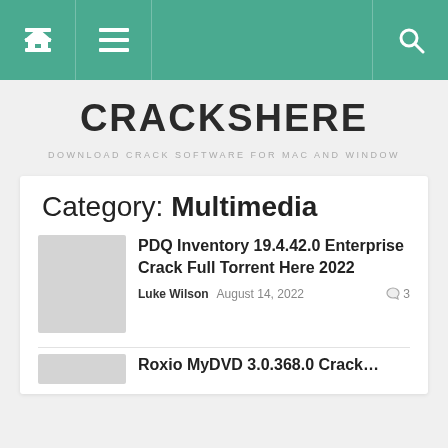Navigation bar with home, menu, and search icons
CRACKSHERE
DOWNLOAD CRACK SOFTWARE FOR MAC AND WINDOW
Category: Multimedia
PDQ Inventory 19.4.42.0 Enterprise Crack Full Torrent Here 2022
Luke Wilson  August 14, 2022  3
Roxio MyDVD 3.0.368.0 Crack...